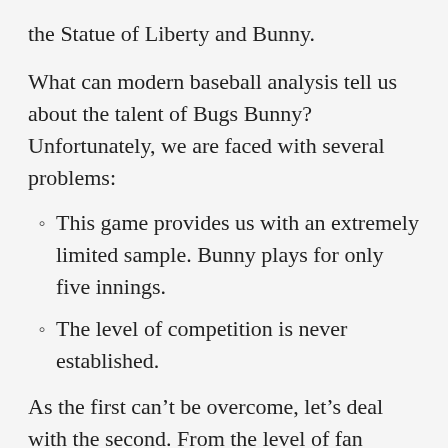the Statue of Liberty and Bunny.
What can modern baseball analysis tell us about the talent of Bugs Bunny? Unfortunately, we are faced with several problems:
This game provides us with an extremely limited sample. Bunny plays for only five innings.
The level of competition is never established.
As the first can’t be overcome, let’s deal with the second. From the level of fan interest, it is fair to assume that the players involved are good enough to be a major draw: a semi-pro game of local celebrities would not (and still does not) draw a sufficent crowd to pack in fifty thousand fans who cheer wildly at events (for one example, see the attendence at MLB